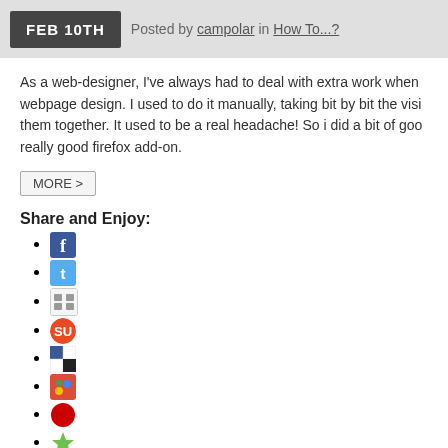FEB 10TH  Posted by campolar in How To...?
As a web-designer, I've always had to deal with extra work when webpage design. I used to do it manually, taking bit by bit the visi them together. It used to be a real headache! So i did a bit of goo really good firefox add-on.
MORE >
Share and Enjoy:
Facebook icon
Twitter icon
Social icon 3
StumbleUpon icon
Delicious icon
Google icon
Red circle icon
Green gear icon
Mixx icon
Info icon
Reddit icon
Green phone icon
More icon